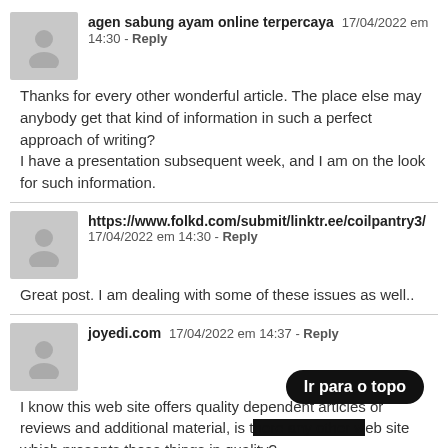agen sabung ayam online terpercaya   17/04/2022 em 14:30 - Reply
Thanks for every other wonderful article. The place else may anybody get that kind of information in such a perfect approach of writing?
I have a presentation subsequent week, and I am on the look for such information.
https://www.folkd.com/submit/linktr.ee/coilpantry3/
17/04/2022 em 14:30 - Reply
Great post. I am dealing with some of these issues as well..
joyedi.com   17/04/2022 em 14:37 - Reply
I know this web site offers quality dependent articles or reviews and additional material, is there any other web site which presents these things in quality?
[Figure (other): Black pill-shaped button with white text 'Ir para o topo']